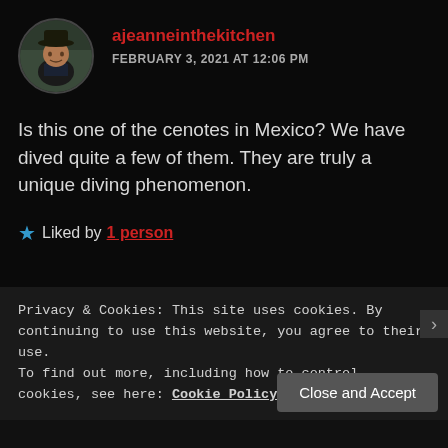[Figure (photo): Circular avatar photo of a person wearing a hat, outdoors with greenery in background]
ajeanneinthekitchen
FEBRUARY 3, 2021 AT 12:06 PM
Is this one of the cenotes in Mexico? We have dived quite a few of them. They are truly a unique diving phenomenon.
★ Liked by 1 person
REPLY
Privacy & Cookies: This site uses cookies. By continuing to use this website, you agree to their use.
To find out more, including how to control cookies, see here: Cookie Policy
Close and Accept